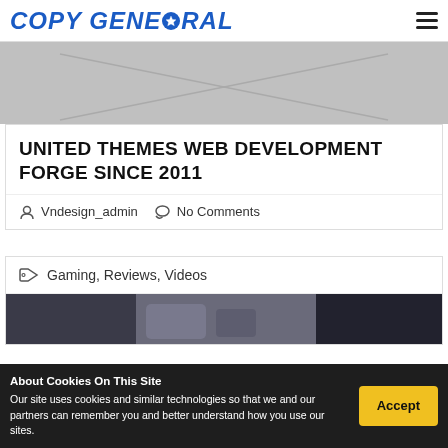COPY GENERAL
[Figure (photo): Gray placeholder image with crossed diagonal lines, representing a missing or unavailable image]
UNITED THEMES WEB DEVELOPMENT FORGE SINCE 2011
Vndesign_admin   No Comments
Gaming, Reviews, Videos
[Figure (photo): Partial photo showing hands and a desk, bottom section of page]
About Cookies On This Site
Our site uses cookies and similar technologies so that we and our partners can remember you and better understand how you use our sites.